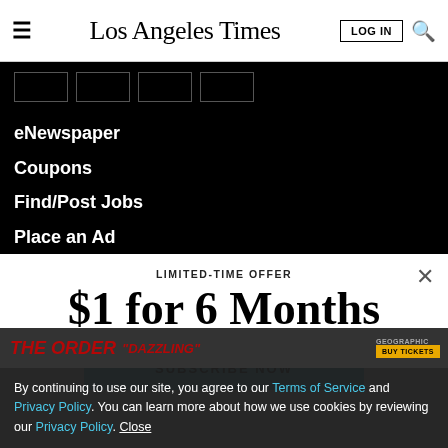Los Angeles Times
eNewspaper
Coupons
Find/Post Jobs
Place an Ad
LIMITED-TIME OFFER
$1 for 6 Months
SUBSCRIBE NOW
By continuing to use our site, you agree to our Terms of Service and Privacy Policy. You can learn more about how we use cookies by reviewing our Privacy Policy. Close